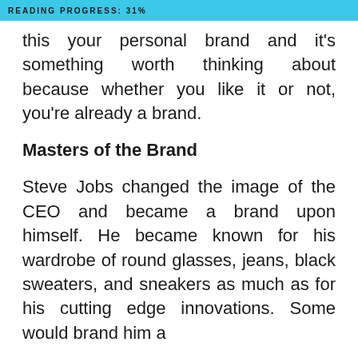READING PROGRESS: 31%
this your personal brand and it's something worth thinking about because whether you like it or not, you're already a brand.
Masters of the Brand
Steve Jobs changed the image of the CEO and became a brand upon himself. He became known for his wardrobe of round glasses, jeans, black sweaters, and sneakers as much as for his cutting edge innovations. Some would brand him a